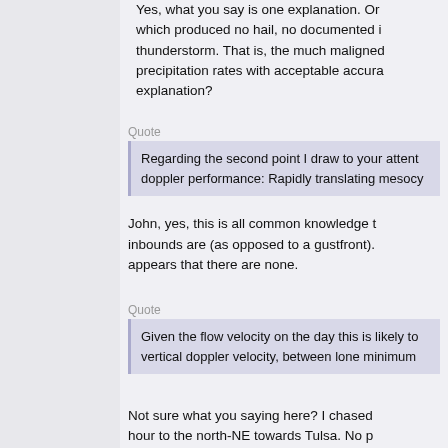Yes, what you say is one explanation. Or which produced no hail, no documented i thunderstorm. That is, the much maligned precipitation rates with acceptable accura explanation?
Quote
Regarding the second point I draw to your atten doppler performance: Rapidly translating mesocy
John, yes, this is all common knowledge t inbounds are (as opposed to a gustfront). appears that there are none.
Quote
Given the flow velocity on the day this is likely to vertical doppler velocity, between lone minimum
Not sure what you saying here? I chased hour to the north-NE towards Tulsa. No p you will have asymmetric in- and out- bou detection in this situation would ultimately against the speed of propagation, yes?